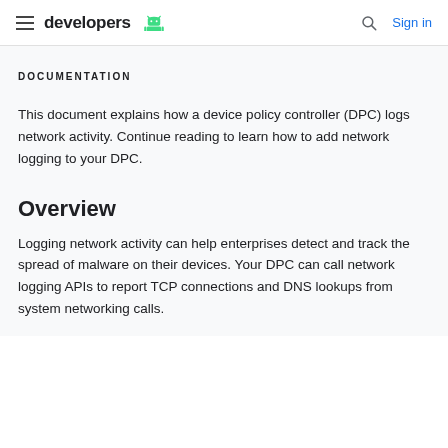developers  Sign in
DOCUMENTATION
This document explains how a device policy controller (DPC) logs network activity. Continue reading to learn how to add network logging to your DPC.
Overview
Logging network activity can help enterprises detect and track the spread of malware on their devices. Your DPC can call network logging APIs to report TCP connections and DNS lookups from system networking calls.